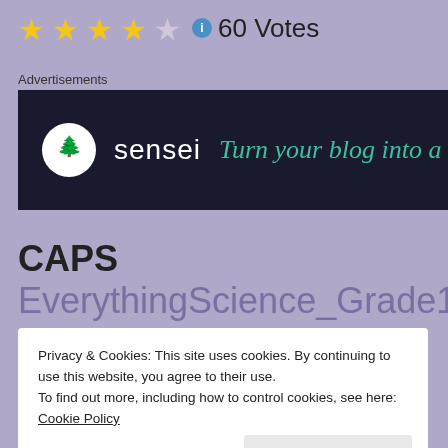★★★★☆ ℹ 60 Votes
Advertisements
[Figure (illustration): Sensei advertisement banner with dark background, circular tree logo, brand name 'sensei', and tagline 'Turn your blog into a']
CAPS EverythingScience_Grade10_TeachersGuide
Privacy & Cookies: This site uses cookies. By continuing to use this website, you agree to their use.
To find out more, including how to control cookies, see here: Cookie Policy
Close and accept